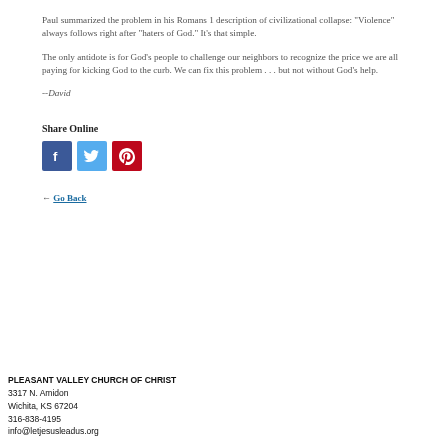Paul summarized the problem in his Romans 1 description of civilizational collapse: "Violence" always follows right after "haters of God." It's that simple.
The only antidote is for God's people to challenge our neighbors to recognize the price we are all paying for kicking God to the curb. We can fix this problem . . . but not without God's help.
--David
Share Online
[Figure (other): Social media share icons: Facebook (blue), Twitter (light blue), Pinterest (red)]
← Go Back
PLEASANT VALLEY CHURCH OF CHRIST
3317 N. Amidon
Wichita, KS 67204
316-838-4195
info@letjesusleadus.org